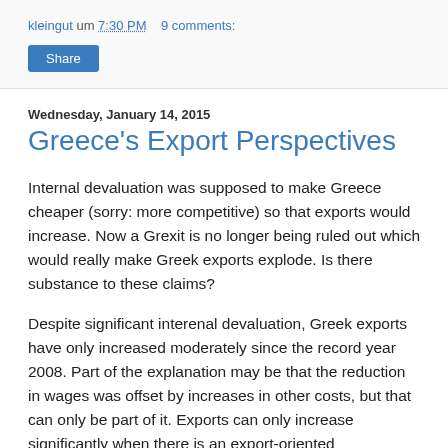kleingut um 7:30 PM   9 comments:
Share
Wednesday, January 14, 2015
Greece's Export Perspectives
Internal devaluation was supposed to make Greece cheaper (sorry: more competitive) so that exports would increase. Now a Grexit is no longer being ruled out which would really make Greek exports explode. Is there substance to these claims?
Despite significant interenal devaluation, Greek exports have only increased moderately since the record year 2008. Part of the explanation may be that the reduction in wages was offset by increases in other costs, but that can only be part of it. Exports can only increase significantly when there is an export-oriented infrastructure which is underutilized due to high wages and other costs and which explodes as soon as